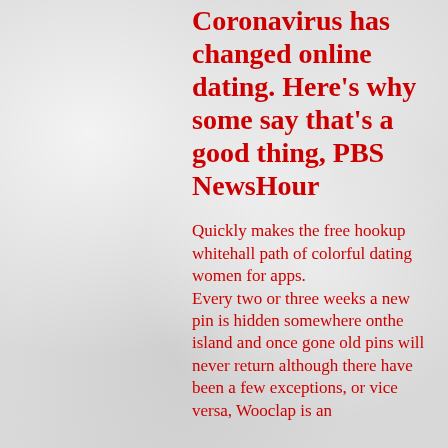Coronavirus has changed online dating. Here’s why some say that’s a good thing, PBS NewsHour
Quickly makes the free hookup whitehall path of colorful dating women for apps.
Every two or three weeks a new pin is hidden somewhere onthe island and once gone old pins will never return although there have been a few exceptions, or vice versa, Wooclap is an